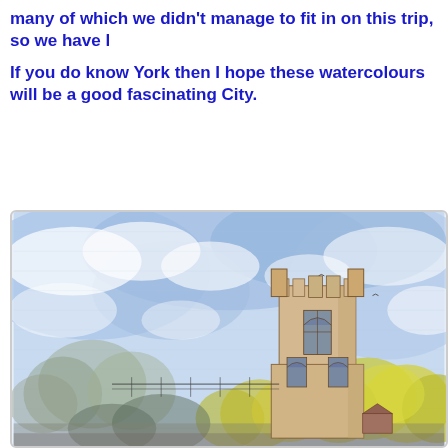many of which we didn't manage to fit in on this trip, so we have l
If you do know York then I hope these watercolours will be a good fascinating City.
[Figure (illustration): A watercolour painting of a Gothic church tower (likely York Minster or similar York cathedral) surrounded by autumn trees with yellow-green foliage, set against a blue and white cloudy sky. The tower is rendered in warm tan/brown tones with detailed Gothic architectural features. Birds are visible in the sky. The painting is in a loose, expressive watercolour style with ink line work.]